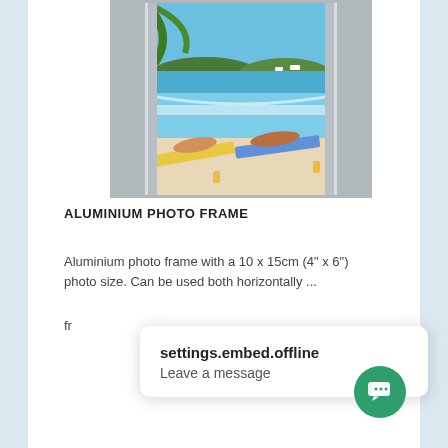[Figure (photo): Aluminium photo frame product shot: two people sunbathing on loungers by a pool with blue sea and trees in background, framed in silver aluminium border]
ALUMINIUM PHOTO FRAME
Aluminium photo frame with a 10 x 15cm (4" x 6") photo size. Can be used both horizontally ...
fr...
settings.embed.offline
Leave a message